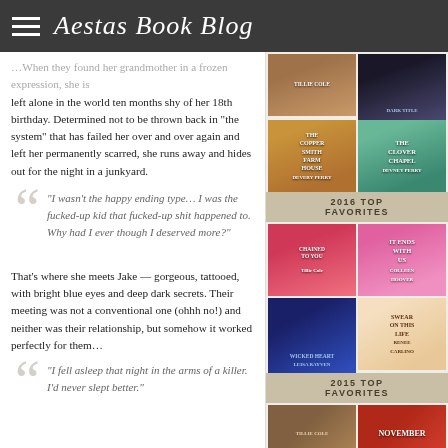Aestas Book Blog
left alone in the world ten months shy of her 18th birthday. Determined not to be thrown back in “the system” that has failed her over and over again and left her permanently scarred, she runs away and hides out for the night in a junkyard.
“I wasn’t the happy ending type… I was the fucked-up kid that fucked-up shit happened to. Why had I ever though I deserved more?”
That’s where she meets Jake — gorgeous, tattooed, with bright blue eyes and deep dark secrets. Their meeting was not a conventional one (ohhh no!) and neither was their relationship, but somehow it worked perfectly for them…
“I fell asleep that night in the arms of a killer. I’d never slept better.”
[Figure (illustration): Grid of book cover thumbnails in right sidebar including The Coppersmith Farmhouse, The Clover Chapel, It Ends With Us by Colleen Hoover, Wicked Heart, and others]
2016 TOP FAVORITES
2015 TOP FAVORITES